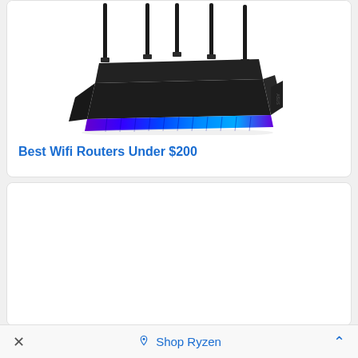[Figure (photo): Black gaming WiFi router with multiple antennas and blue/purple RGB lighting strip on the front, photographed on white background]
Best Wifi Routers Under $200
[Figure (photo): Blank white card area below the first card]
× Shop Ryzen ^